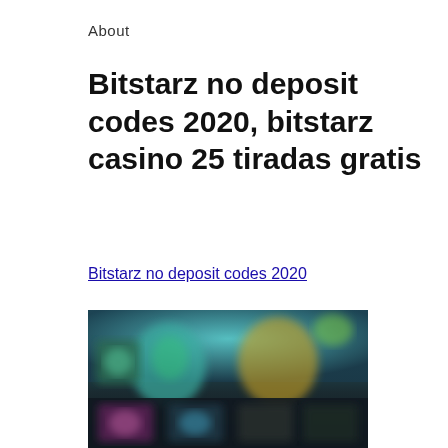About
Bitstarz no deposit codes 2020, bitstarz casino 25 tiradas gratis
Bitstarz no deposit codes 2020
[Figure (screenshot): Blurred screenshot of a casino website showing game thumbnails and characters against a teal/dark background]